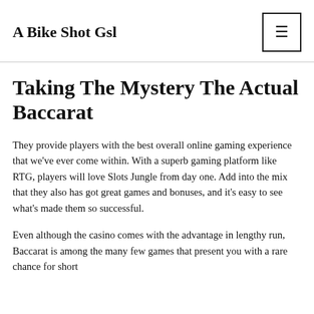A Bike Shot Gsl
Taking The Mystery The Actual Baccarat
They provide players with the best overall online gaming experience that we've ever come within. With a superb gaming platform like RTG, players will love Slots Jungle from day one. Add into the mix that they also has got great games and bonuses, and it's easy to see what's made them so successful.
Even although the casino comes with the advantage in lengthy run, Baccarat is among the many few games that present you with a rare chance for short